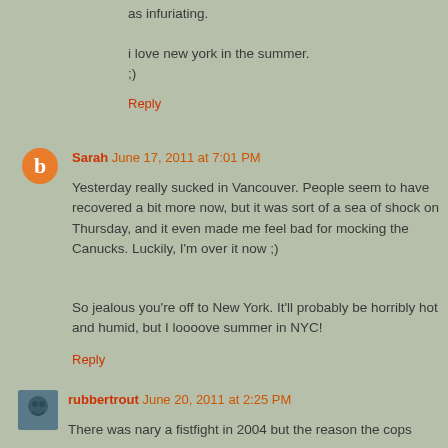as infuriating.
i love new york in the summer.
;)
Reply
Sarah  June 17, 2011 at 7:01 PM
Yesterday really sucked in Vancouver. People seem to have recovered a bit more now, but it was sort of a sea of shock on Thursday, and it even made me feel bad for mocking the Canucks. Luckily, I'm over it now ;)
So jealous you're off to New York. It'll probably be horribly hot and humid, but I loooove summer in NYC!
Reply
rubbertrout  June 20, 2011 at 2:25 PM
There was nary a fistfight in 2004 but the reason the cops